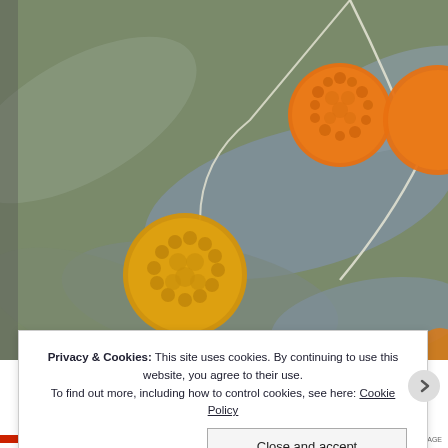[Figure (photo): Close-up photograph of yellow and orange round flower clusters (likely Buddleia or similar) on grey-green leafy stems, with a bumblebee visible in the mid-ground]
Privacy & Cookies: This site uses cookies. By continuing to use this website, you agree to their use.
To find out more, including how to control cookies, see here: Cookie Policy
Close and accept